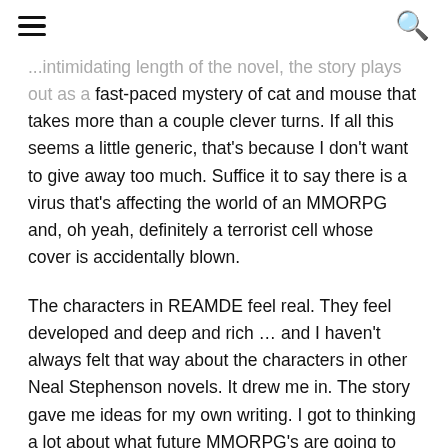[hamburger menu] [search icon]
...intimidating length of the novel, the story plays out as a fast-paced mystery of cat and mouse that takes more than a couple clever turns. If all this seems a little generic, that's because I don't want to give away too much. Suffice it to say there is a virus that's affecting the world of an MMORPG and, oh yeah, definitely a terrorist cell whose cover is accidentally blown.
The characters in REAMDE feel real. They feel developed and deep and rich … and I haven't always felt that way about the characters in other Neal Stephenson novels. It drew me in. The story gave me ideas for my own writing. I got to thinking a lot about what future MMORPG's are going to look like and I started to wonder just how long it's going to take before a not insignificant portion of our population prefers some sort of virtual universe. I think